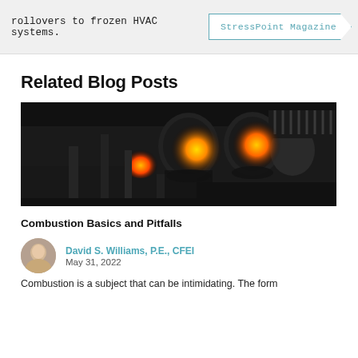rollovers to frozen HVAC systems. StressPoint Magazine
Related Blog Posts
[Figure (photo): Close-up photograph of glowing engine combustion chambers with orange and yellow flames against dark mechanical components]
Combustion Basics and Pitfalls
David S. Williams, P.E., CFEI
May 31, 2022
Combustion is a subject that can be intimidating. The form